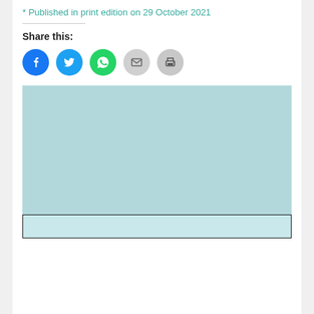* Published in print edition on 29 October 2021
Share this:
[Figure (infographic): Social share buttons: Facebook (blue circle), Twitter (light blue circle), WhatsApp (green circle), Email (grey circle), Print (grey circle)]
[Figure (other): Light blue advertisement or placeholder block with a bordered sub-box at the bottom]